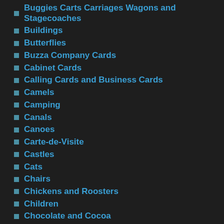Buggies Carts Carriages Wagons and Stagecoaches
Buildings
Butterflies
Buzza Company Cards
Cabinet Cards
Calling Cards and Business Cards
Camels
Camping
Canals
Canoes
Carte-de-Visite
Castles
Cats
Chairs
Chickens and Roosters
Children
Chocolate and Cocoa
Christmas
Churches, Mosques and Temples
Clowns
Couples